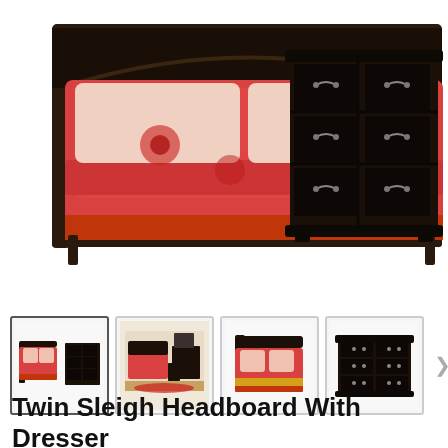[Figure (photo): Main product photo showing a twin bed with red/coral bedding and floral pattern on the left, and a dark black wood 6-drawer dresser on the right, on a white background.]
[Figure (photo): Thumbnail 1 (selected/active): Small image showing the twin bed with red bedding and the black dresser side by side.]
[Figure (photo): Thumbnail 2: Small image showing a bedroom scene with the full bedroom set including bed, dresser, and nightstands in a room setting.]
[Figure (photo): Thumbnail 3: Small image showing just the twin bed with red/coral bedding and black headboard.]
[Figure (photo): Thumbnail 4: Small image showing just the black 6-drawer dresser.]
Twin Sleigh Headboard With Dresser